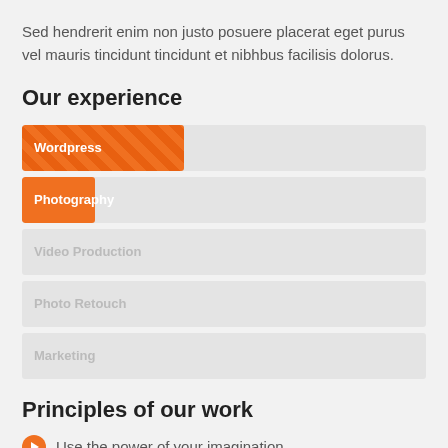Sed hendrerit enim non justo posuere placerat eget purus vel mauris tincidunt tincidunt et nibhbus facilisis dolorus.
Our experience
[Figure (infographic): Horizontal skill bars showing: Wordpress (~40% fill, striped orange), Photography (~18% fill, solid orange), Video Production (empty/grey), Photo Retouch (empty/grey), Marketing (empty/grey)]
Principles of our work
Use the power of your imagination